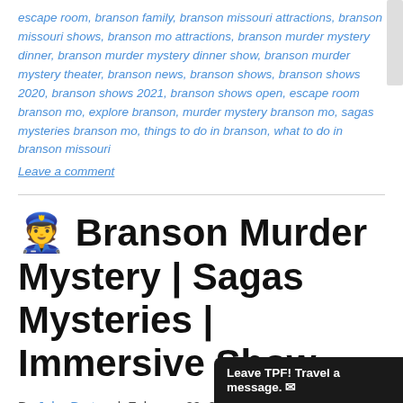escape room, branson family, branson missouri attractions, branson missouri shows, branson mo attractions, branson murder mystery dinner, branson murder mystery dinner show, branson murder mystery theater, branson news, branson shows, branson shows 2020, branson shows 2021, branson shows open, escape room branson mo, explore branson, murder mystery branson mo, sagas mysteries branson mo, things to do in branson, what to do in branson missouri
Leave a comment
👮 Branson Murder Mystery | Sagas Mysteries | Immersive Show
By John Burton | February 29, 2020